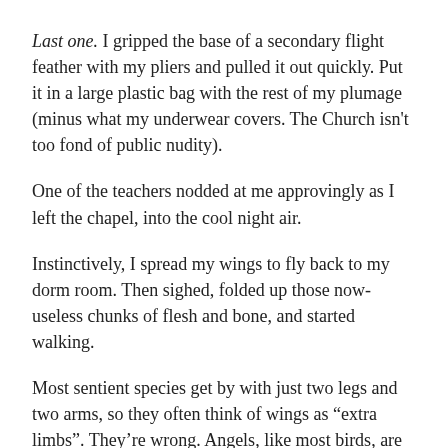Last one. I gripped the base of a secondary flight feather with my pliers and pulled it out quickly. Put it in a large plastic bag with the rest of my plumage (minus what my underwear covers. The Church isn't too fond of public nudity).
One of the teachers nodded at me approvingly as I left the chapel, into the cool night air.
Instinctively, I spread my wings to fly back to my dorm room. Then sighed, folded up those now-useless chunks of flesh and bone, and started walking.
Most sentient species get by with just two legs and two arms, so they often think of wings as “extra limbs”. They’re wrong. Angels, like most birds, are evolved for flight. It’s how we escape from predators. A survival skill.
Despite the efforts angels made to fit in with humans, we’re not humans. We’re prey, not predators. Birds, sticking together in a flock/church for safety. And hiding our weakness. The weak are kicked out–or even killed–before